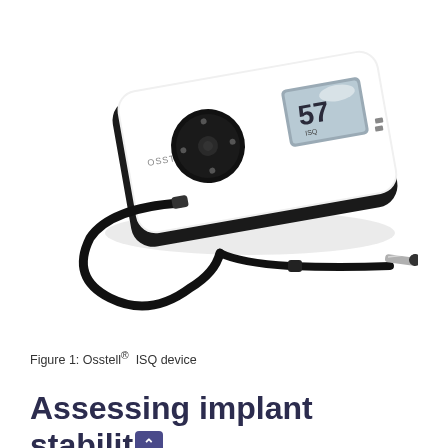[Figure (photo): Photograph of an Osstell ISQ device — a white and black handheld electronic instrument with a circular navigation pad on its face, a small LCD display showing the number 57, and a probe/transducer connected by a looped black cable.]
Figure 1: Osstell®  ISQ device
Assessing implant stability for loading